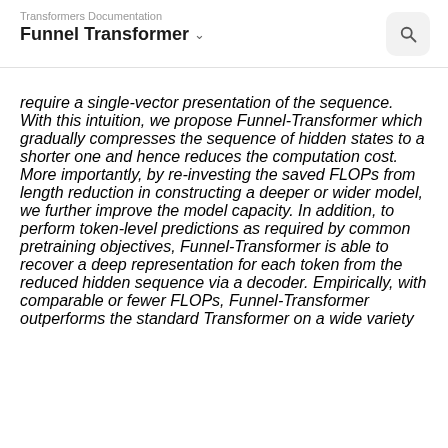Transformers Documentation
Funnel Transformer
require a single-vector presentation of the sequence. With this intuition, we propose Funnel-Transformer which gradually compresses the sequence of hidden states to a shorter one and hence reduces the computation cost. More importantly, by re-investing the saved FLOPs from length reduction in constructing a deeper or wider model, we further improve the model capacity. In addition, to perform token-level predictions as required by common pretraining objectives, Funnel-Transformer is able to recover a deep representation for each token from the reduced hidden sequence via a decoder. Empirically, with comparable or fewer FLOPs, Funnel-Transformer outperforms the standard Transformer on a wide variety